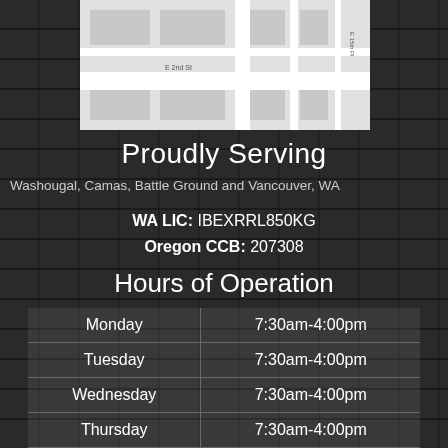[Figure (map): Street map showing location near E 2nd St and E 15th Pl, NE area]
Proudly Serving
Washougal, Camas, Battle Ground and Vancouver, WA
WA LIC: IBEXRRL850KG
Oregon CCB: 207308
Hours of Operation
| Day | Hours |
| --- | --- |
| Monday | 7:30am-4:00pm |
| Tuesday | 7:30am-4:00pm |
| Wednesday | 7:30am-4:00pm |
| Thursday | 7:30am-4:00pm |
| Friday | 7:30am-4:00pm |